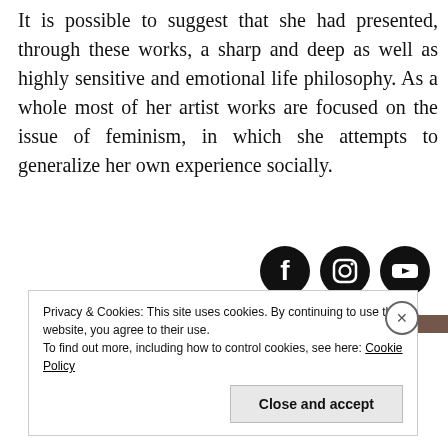It is possible to suggest that she had presented, through these works, a sharp and deep as well as highly sensitive and emotional life philosophy. As a whole most of her artist works are focused on the issue of feminism, in which she attempts to generalize her own experience socially.
[Figure (other): Three social media icons (Facebook, Instagram, YouTube) as black circles with white logos]
[Figure (photo): Partial image visible at bottom of page, dark brownish bar]
Privacy & Cookies: This site uses cookies. By continuing to use this website, you agree to their use.
To find out more, including how to control cookies, see here: Cookie Policy
Close and accept